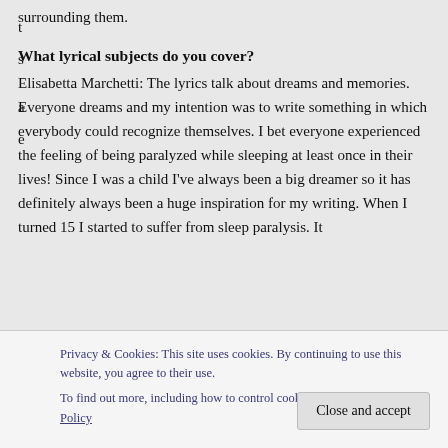surrounding them.
What lyrical subjects do you cover?
Elisabetta Marchetti: The lyrics talk about dreams and memories. Everyone dreams and my intention was to write something in which everybody could recognize themselves. I bet everyone experienced the feeling of being paralyzed while sleeping at least once in their lives! Since I was a child I've always been a big dreamer so it has definitely always been a huge inspiration for my writing. When I turned 15 I started to suffer from sleep paralysis. It t... s... a... e...
Privacy & Cookies: This site uses cookies. By continuing to use this website, you agree to their use.
To find out more, including how to control cookies, see here: Cookie Policy
Close and accept